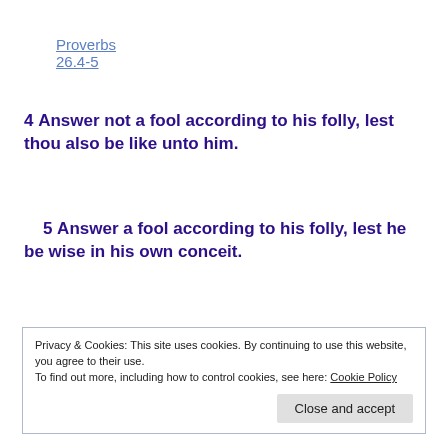Proverbs 26.4-5
4 Answer not a fool according to his folly, lest thou also be like unto him.
5 Answer a fool according to his folly, lest he be wise in his own conceit.
Privacy & Cookies: This site uses cookies. By continuing to use this website, you agree to their use.
To find out more, including how to control cookies, see here: Cookie Policy
Close and accept